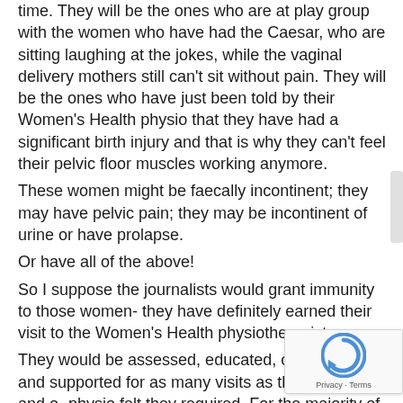time. They will be the ones who are at play group with the women who have had the Caesar, who are sitting laughing at the jokes, while the vaginal delivery mothers still can't sit without pain. They will be the ones who have just been told by their Women's Health physio that they have had a significant birth injury and that is why they can't feel their pelvic floor muscles working anymore.
These women might be faecally incontinent; they may have pelvic pain; they may be incontinent of urine or have prolapse.
Or have all of the above!
So I suppose the journalists would grant immunity to those women- they have definitely earned their visit to the Women's Health physiotherapist.
They would be assessed, educated, counselled and supported for as many visits as the patient / and or physio felt they required. For the majority of women may be an initial long consultation of one to one and a